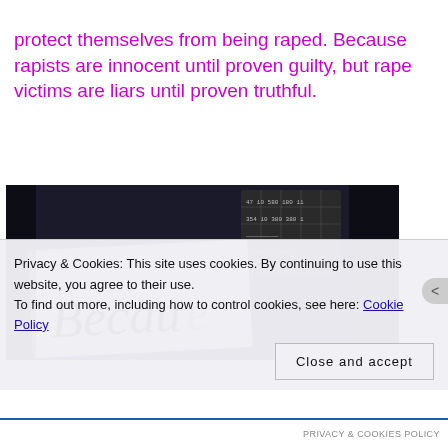protect themselves from being raped. Because rapists are innocent until proven guilty, but rape victims are liars until proven truthful.
[Figure (photo): Black and white photograph showing a protest sign reading 'Becau...' (Because) held up, with a grid/scoreboard visible in the dark background.]
Privacy & Cookies: This site uses cookies. By continuing to use this website, you agree to their use.
To find out more, including how to control cookies, see here: Cookie Policy
Close and accept
PRIVACY & COOKIES POLICY